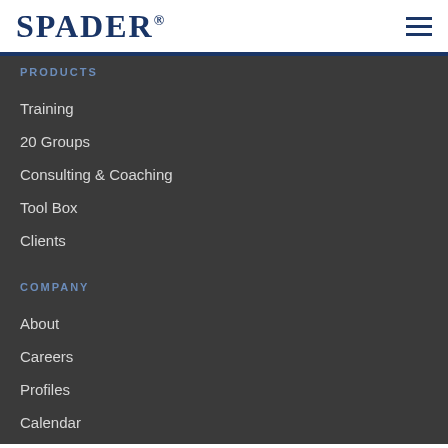SPADER®
PRODUCTS
Training
20 Groups
Consulting & Coaching
Tool Box
Clients
COMPANY
About
Careers
Profiles
Calendar
Resource Guide PDF
Privacy Policy